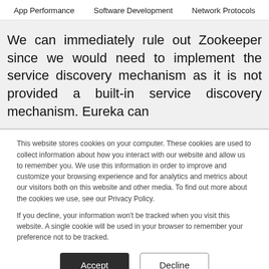App Performance   Software Development   Network Protocols
We can immediately rule out Zookeeper since we would need to implement the service discovery mechanism as it is not provided a built-in service discovery mechanism. Eureka can
This website stores cookies on your computer. These cookies are used to collect information about how you interact with our website and allow us to remember you. We use this information in order to improve and customize your browsing experience and for analytics and metrics about our visitors both on this website and other media. To find out more about the cookies we use, see our Privacy Policy.

If you decline, your information won't be tracked when you visit this website. A single cookie will be used in your browser to remember your preference not to be tracked.
Accept   Decline